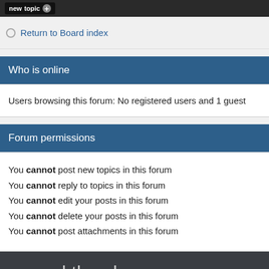new topic
Return to Board index
Who is online
Users browsing this forum: No registered users and 1 guest
Forum permissions
You cannot post new topics in this forum
You cannot reply to topics in this forum
You cannot edit your posts in this forum
You cannot delete your posts in this forum
You cannot post attachments in this forum
around the place
Competitions SANFL Official Site | SAAFL | Country Footy SA | Southern
Club Forums CDFC Info | Eagles Nest | Snouts Louts | The Roost | Doubl